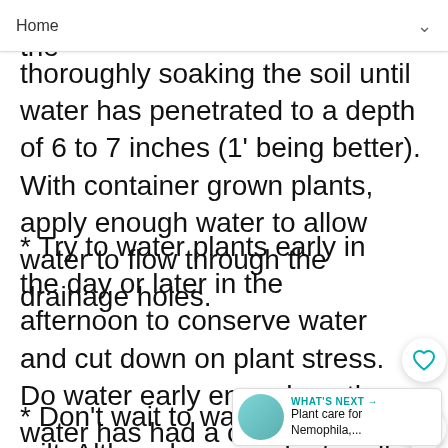Home
pr... the... ns thoroughly soaking the soil until water has penetrated to a depth of 6 to 7 inches (1' being better). With container grown plants, apply enough water to allow water to flow through the drainage holes.
* Try to water plants early in the day or later in the afternoon to conserve water and cut down on plant stress. Do water early enough so the water has had a chance to dry from plant leaves prior to night fall. This is paramount if you have had fungus problems.
* Don't wait to water until plants wilt. Although some plants will recover from this, all plants